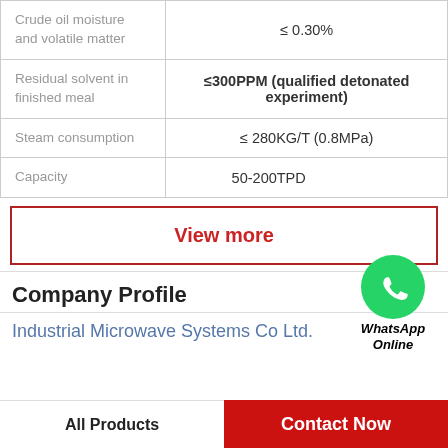| Parameter | Value |
| --- | --- |
| Crude oil moisture and volatile matter | ≤ 0.30% |
| Residual solvent in finished meal | ≤300PPM (qualified detonated experiment) |
| Steam consumption | ≤ 280KG/T (0.8MPa) |
| Capacity | 50-200TPD |
[Figure (logo): WhatsApp green circle icon with phone handset, labeled WhatsApp Online in bold italic]
View more
Company Profile
Industrial Microwave Systems Co Ltd.
All Products | Contact Now